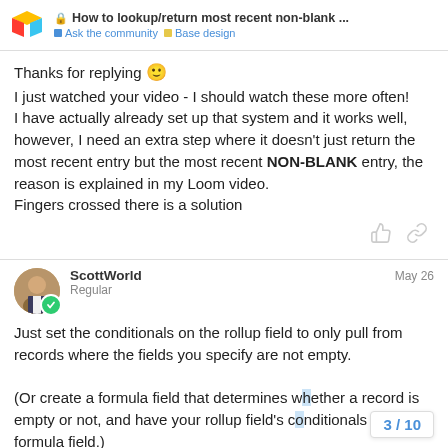How to lookup/return most recent non-blank ... | Ask the community | Base design
Thanks for replying 🙂
I just watched your video - I should watch these more often!
I have actually already set up that system and it works well, however, I need an extra step where it doesn't just return the most recent entry but the most recent NON-BLANK entry, the reason is explained in my Loom video.
Fingers crossed there is a solution
ScottWorld
Regular
May 26
Just set the conditionals on the rollup field to only pull from records where the fields you specify are not empty.

(Or create a formula field that determines whether a record is empty or not, and have your rollup field's c... that formula field.)
3 / 10